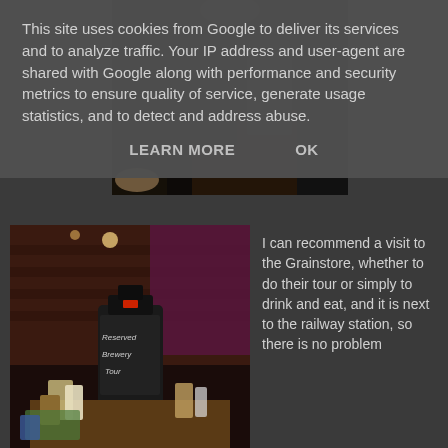[Figure (photo): Dark interior restaurant/bar scene showing chairs and furniture on a patterned floor]
[Figure (photo): Interior of Grainstore brewery/pub with a chalkboard sign reading 'Reserved Brewery Tour']
I can recommend a visit to the Grainstore, whether to do their tour or simply to drink and eat, and it is next to the railway station, so there is no problem
This site uses cookies from Google to deliver its services and to analyze traffic. Your IP address and user-agent are shared with Google along with performance and security metrics to ensure quality of service, generate usage statistics, and to detect and address abuse.
LEARN MORE    OK